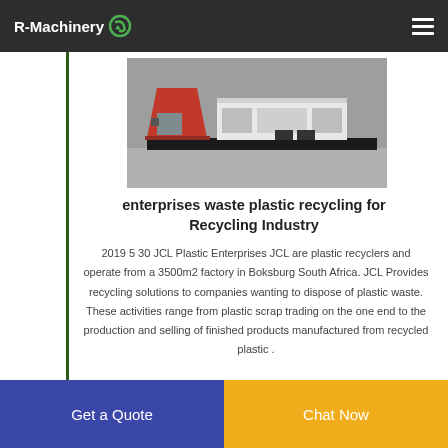R-Machinery
[Figure (photo): Industrial plastic recycling machinery — red hopper and white machine unit on a platform in a factory setting]
enterprises waste plastic recycling for Recycling Industry
2019 5 30 JCL Plastic Enterprises JCL are plastic recyclers and operate from a 3500m2 factory in Boksburg South Africa. JCL Provides recycling solutions to companies wanting to dispose of plastic waste. These activities range from plastic scrap trading on the one end to the production and selling of finished products manufactured from recycled plastic .
Get a Quote
Chat Now